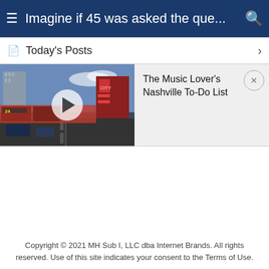Imagine if 45 was asked the que...
Today's Posts
[Figure (screenshot): Video thumbnail of Nashville street scene with play button overlay]
The Music Lover's Nashville To-Do List
Copyright © 2021 MH Sub I, LLC dba Internet Brands. All rights reserved. Use of this site indicates your consent to the Terms of Use.